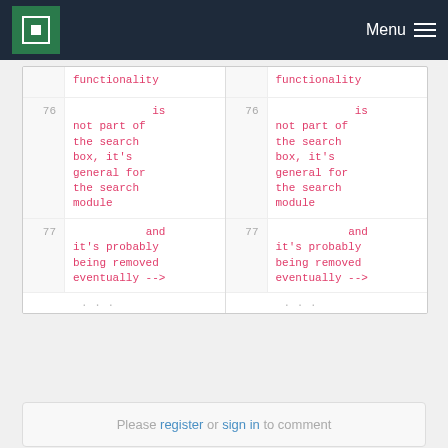MPCDF Menu
| line | code | line | code |
| --- | --- | --- | --- |
| 76 |             is
not part of
the search
box, it's
general for
the search
module | 76 |             is
not part of
the search
box, it's
general for
the search
module |
| 77 |            and
it's probably
being removed
eventually --> | 77 |            and
it's probably
being removed
eventually --> |
Please register or sign in to comment